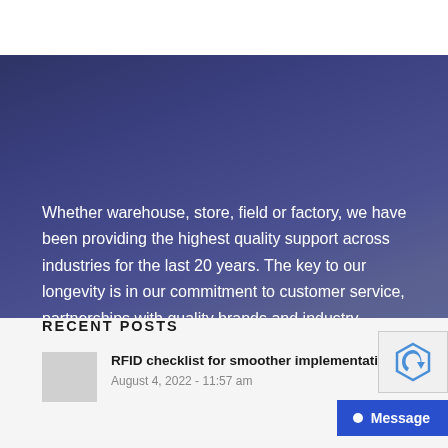Whether warehouse, store, field or factory, we have been providing the highest quality support across industries for the last 20 years. The key to our longevity is in our commitment to customer service, partnerships with quality brands and industry expertise.
RECENT POSTS
RFID checklist for smoother implementation
August 4, 2022 - 11:57 am